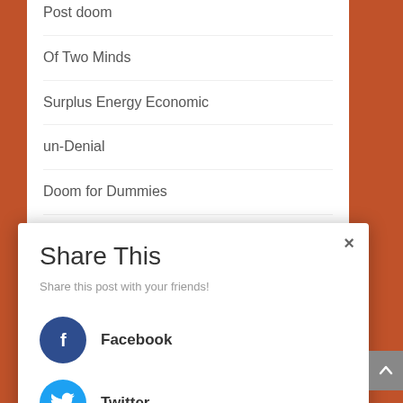Post doom
Of Two Minds
Surplus Energy Economic
un-Denial
Doom for Dummies
The Fan Initiative
Share This
Share this post with your friends!
Facebook
Twitter